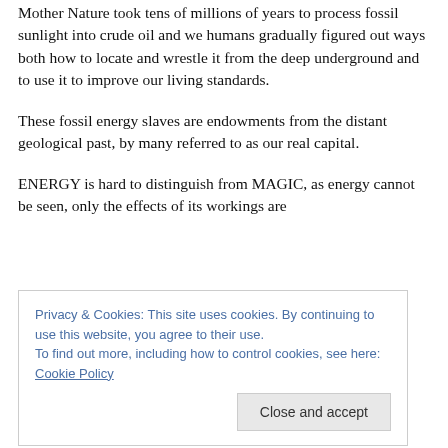Mother Nature took tens of millions of years to process fossil sunlight into crude oil and we humans gradually figured out ways both how to locate and wrestle it from the deep underground and to use it to improve our living standards.
These fossil energy slaves are endowments from the distant geological past, by many referred to as our real capital.
ENERGY is hard to distinguish from MAGIC, as energy cannot be seen, only the effects of its workings are
system as what runs our world.
Privacy & Cookies: This site uses cookies. By continuing to use this website, you agree to their use.
To find out more, including how to control cookies, see here: Cookie Policy